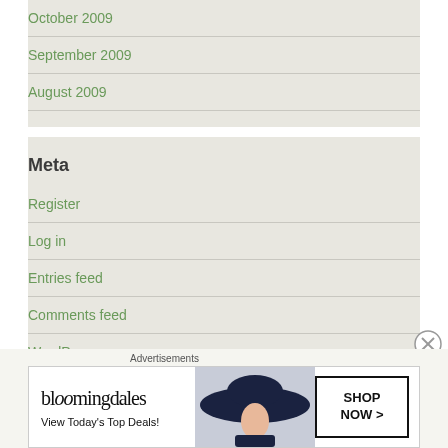October 2009
September 2009
August 2009
Meta
Register
Log in
Entries feed
Comments feed
WordPress.com
Advertisements
[Figure (other): Bloomingdale's advertisement banner: 'View Today's Top Deals!' with SHOP NOW button and woman wearing a large sun hat]